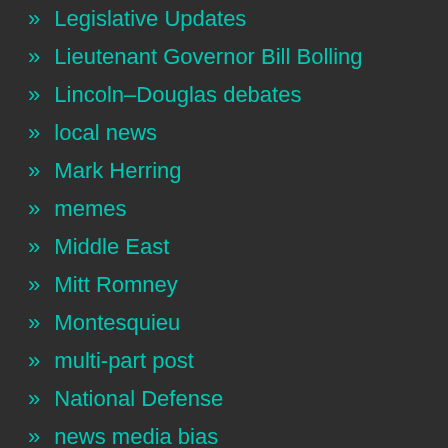» Legislative Updates
» Lieutenant Governor Bill Bolling
» Lincoln–Douglas debates
» local news
» Mark Herring
» memes
» Middle East
» Mitt Romney
» Montesquieu
» multi-part post
» National Defense
» news media bias
» Newt Gingrich
» NOVA's Non-Conservative Blogs
» oops!